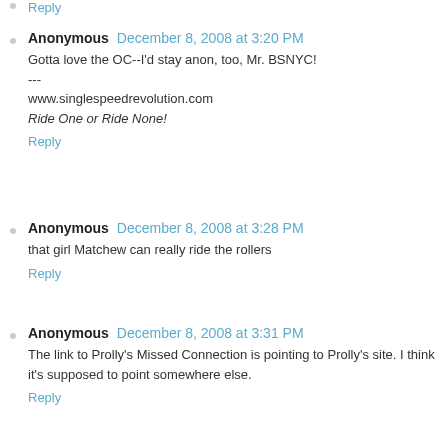Reply
Anonymous  December 8, 2008 at 3:20 PM
Gotta love the OC--I'd stay anon, too, Mr. BSNYC!
---
www.singlespeedrevolution.com
Ride One or Ride None!
Reply
Anonymous  December 8, 2008 at 3:28 PM
that girl Matchew can really ride the rollers
Reply
Anonymous  December 8, 2008 at 3:31 PM
The link to Prolly's Missed Connection is pointing to Prolly's site. I think it's supposed to point somewhere else.
Reply